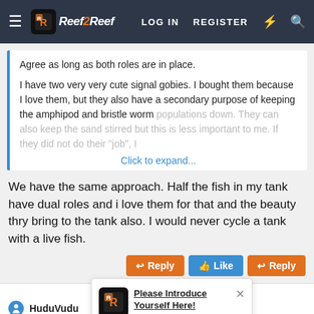Reef2Reef — LOG IN  REGISTER
Agree as long as both roles are in place.

I have two very very cute signal gobies. I bought them because I love them, but they also have a secondary purpose of keeping the amphipod and bristle worm populations down. They can also keep the sand stirred but this is less important to me. If they did not do their "job", I
Click to expand...
We have the same approach. Half the fish in my tank have dual roles and i love them for that and the beauty thry bring to the tank also. I would never cycle a tank with a live fish.
HuduVudu
Please Introduce Yourself Here!